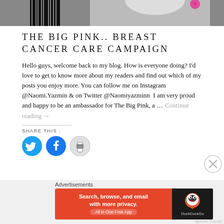[Figure (photo): Top portion of a photo showing a person in a white top, with pink decorative elements, partially cropped at top of page]
THE BIG PINK.. BREAST CANCER CARE CAMPAIGN
Hello guys, welcome back to my blog. How is everyone doing? I'd love to get to know more about my readers and find out which of my posts you enjoy more. You can follow me on Instagram @Naomi.Yazmin & on Twitter @Naomiyazminn  I am very proud and happy to be an ambassador for The Big Pink, a … Continue reading →
SHARE THIS :
[Figure (illustration): Three social share buttons: Twitter (blue circle with bird icon), Facebook (blue circle with f icon), Print (grey circle with printer icon)]
[Figure (illustration): Close/dismiss button (circle with X) in lower right]
Advertisements
[Figure (screenshot): DuckDuckGo advertisement banner: orange background with text 'Search, browse, and email with more privacy. All in One Free App', and DuckDuckGo logo on dark right panel]